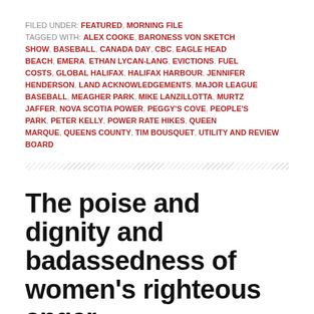FILED UNDER: FEATURED, MORNING FILE
TAGGED WITH: ALEX COOKE, BARONESS VON SKETCH SHOW, BASEBALL, CANADA DAY, CBC, EAGLE HEAD BEACH, EMERA, ETHAN LYCAN-LANG, EVICTIONS, FUEL COSTS, GLOBAL HALIFAX, HALIFAX HARBOUR, JENNIFER HENDERSON, LAND ACKNOWLEDGEMENTS, MAJOR LEAGUE BASEBALL, MEAGHER PARK, MIKE LANZILLOTTA, MURTZ JAFFER, NOVA SCOTIA POWER, PEGGY'S COVE, PEOPLE'S PARK, PETER KELLY, POWER RATE HIKES, QUEEN MARQUE, QUEENS COUNTY, TIM BOUSQUET, UTILITY AND REVIEW BOARD
The poise and dignity and badassedness of women's righteous anger
Morning File, Monday, June 27